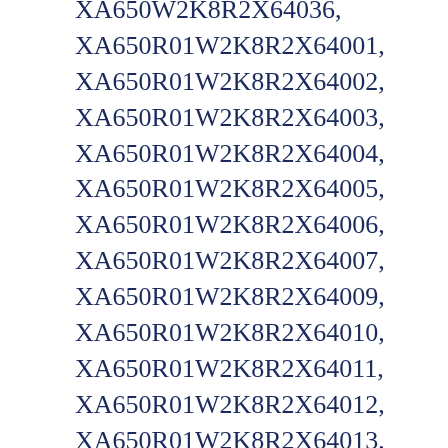XA650W2K8R2X64036,
XA650R01W2K8R2X64001,
XA650R01W2K8R2X64002,
XA650R01W2K8R2X64003,
XA650R01W2K8R2X64004,
XA650R01W2K8R2X64005,
XA650R01W2K8R2X64006,
XA650R01W2K8R2X64007,
XA650R01W2K8R2X64009,
XA650R01W2K8R2X64010,
XA650R01W2K8R2X64011,
XA650R01W2K8R2X64012,
XA650R01W2K8R2X64013,
XA650R01W2K8R2X64014,
XA650R01W2K8R2X64015,
XA650R01W2K8R2X64016,
XA650R01W2K8R2X64...